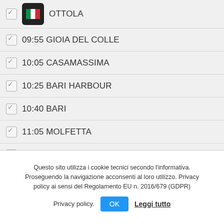OTTOLA
09:55 GIOIA DEL COLLE
10:05 CASAMASSIMA
10:25 BARI HARBOUR
10:40 BARI
11:05 MOLFETTA
11:20 TRANI
11:35 BARLETTA
Questo sito utilizza i cookie tecnici secondo l'informativa. Proseguendo la navigazione acconsenti al loro utilizzo. Privacy policy ai sensi del Regolamento EU n. 2016/679 (GDPR)
Privacy policy. OK Leggi tutto